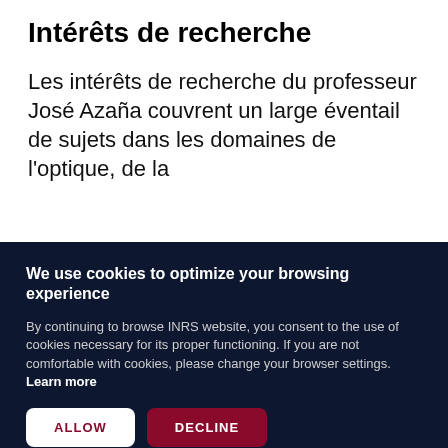Intérêts de recherche
Les intérêts de recherche du professeur José Azaña couvrent un large éventail de sujets dans les domaines de l'optique, de la
We use cookies to optimize your browsing experience
By continuing to browse INRS website, you consent to the use of cookies necessary for its proper functioning. If you are not comfortable with cookies, please change your browser settings. Learn more
ALLOW
DECLINE